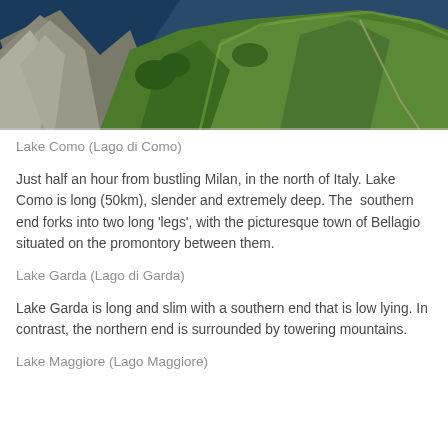[Figure (photo): Aerial or elevated view of Alpine mountains and hills with green slopes and dark blue lake water visible in the upper left corner. Rocky peaks on the left side, lush green rolling hills on the right.]
Lake Como (Lago di Como)
Just half an hour from bustling Milan, in the north of Italy. Lake Como is long (50km), slender and extremely deep. The southern end forks into two long 'legs', with the picturesque town of Bellagio situated on the promontory between them.
Lake Garda (Lago di Garda)
Lake Garda is long and slim with a southern end that is low lying. In contrast, the northern end is surrounded by towering mountains.
Lake Maggiore (Lago Maggiore)